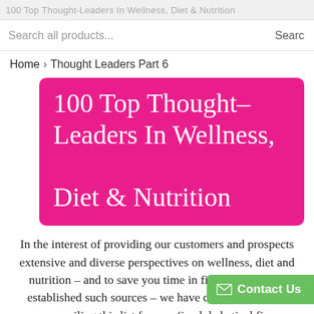100 Top Thought-Leaders In Wellness, Diet & Nutrition
Search all products...  Searc
Home › Thought Leaders Part 6
100 Top Thought-Leaders In Wellness, Diet & Nutrition
In the interest of providing our customers and prospects extensive and diverse perspectives on wellness, diet and nutrition – and to save you time in finding the most-established such sources – we have done the work of compiling this list for you (in alphabetical first name order, by category